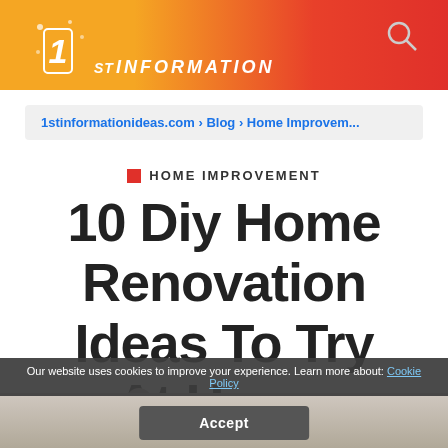[Figure (screenshot): Website header banner with gradient background (orange to red), logo showing '1st INFORMATION' and search icon on the right]
1stinformationideas.com › Blog › Home Improvem...
HOME IMPROVEMENT
10 Diy Home Renovation Ideas To Try At Home
Charles | June 24, 2020
Our website uses cookies to improve your experience. Learn more about: Cookie Policy
Accept
[Figure (photo): Partial photo of a home renovation scene at bottom of page]